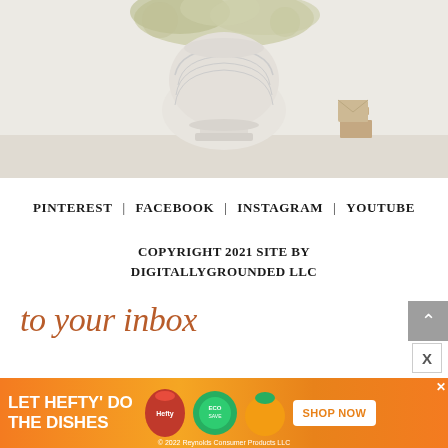[Figure (photo): Photo of a white decorative vase/urn with flowers on top, placed on a table with stacked books in the background]
PINTEREST | FACEBOOK | INSTAGRAM | YOUTUBE
COPYRIGHT 2021 SITE BY DIGITALLYGROUNDED LLC
to your inbox
[Figure (photo): Advertisement banner: LET HEFTY DO THE DISHES - shows Hefty and EcoSave product images with SHOP NOW button]